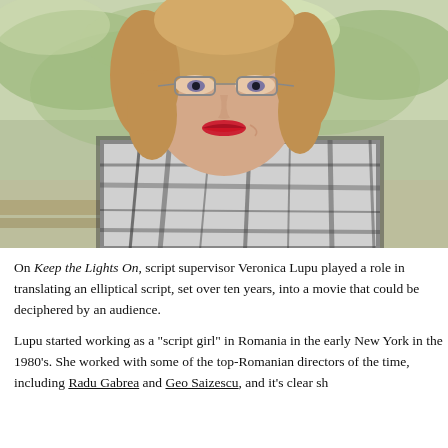[Figure (photo): Portrait photo of a middle-aged woman with short blonde-brown hair, wearing glasses and a black-and-white plaid sleeveless top, red lipstick, photographed outdoors with a green blurred background.]
On Keep the Lights On, script supervisor Veronica Lupu played a role in translating an elliptical script, set over ten years, into a movie that could be deciphered by an audience.
Lupu started working as a "script girl" in Romania in the early New York in the 1980's. She worked with some of the top-Romanian directors of the time, including Radu Gabrea and Geo Saizescu, and it's clear she could not only translate a foreign subject to an American audience but also...